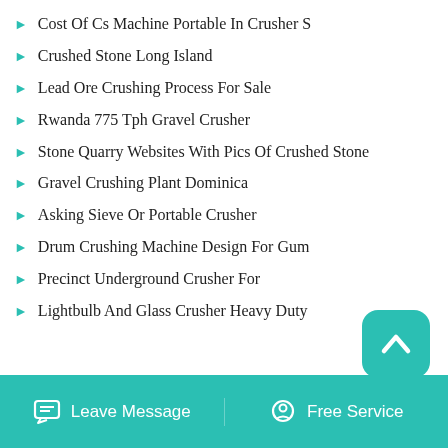Cost Of Cs Machine Portable In Crusher S
Crushed Stone Long Island
Lead Ore Crushing Process For Sale
Rwanda 775 Tph Gravel Crusher
Stone Quarry Websites With Pics Of Crushed Stone
Gravel Crushing Plant Dominica
Asking Sieve Or Portable Crusher
Drum Crushing Machine Design For Gum
Precinct Underground Crusher For
Lightbulb And Glass Crusher Heavy Duty
[Figure (other): Teal rounded square button with upward chevron arrow icon for scroll to top]
Leave Message   Free Service